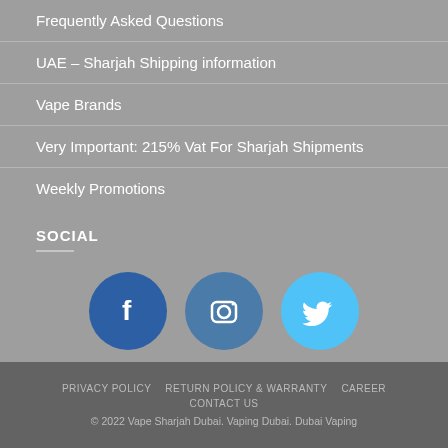Frequently Asked Questions
UAE – Sharjah Shipping information
Vape Brands
Very Important: 215% Vat For Sharjah Shipments
Weekly Promotions
SOCIAL
[Figure (logo): Three social media icons: Facebook (dark blue circle with 'f'), Instagram (medium blue circle with camera icon), Twitter (light blue circle with bird icon)]
PRIVACY POLICY   RETURN POLICY & WARRANTY   CAREER   CONTACT US
© 2022 Vape Sharjah Dubai. Vaping Dubai. Dubai Vaping